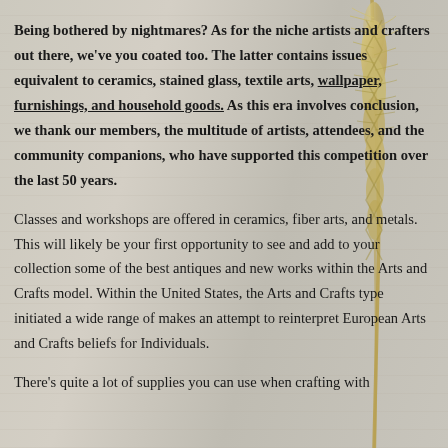Being bothered by nightmares? As for the niche artists and crafters out there, we've you coated too. The latter contains issues equivalent to ceramics, stained glass, textile arts, wallpaper, furnishings, and household goods. As this era involves conclusion, we thank our members, the multitude of artists, attendees, and the community companions, who have supported this competition over the last 50 years.
Classes and workshops are offered in ceramics, fiber arts, and metals. This will likely be your first opportunity to see and add to your collection some of the best antiques and new works within the Arts and Crafts model. Within the United States, the Arts and Crafts type initiated a wide range of makes an attempt to reinterpret European Arts and Crafts beliefs for Individuals.
There's quite a lot of supplies you can use when crafting with
[Figure (photo): A tall dried wheat or grass stalk running vertically along the right side of the page, golden/tan in color against the textured light gray background.]